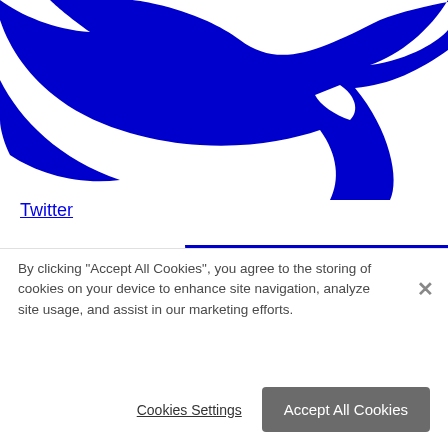[Figure (logo): Large blue Twitter bird logo, cropped, showing upper portion of the bird silhouette in blue on white background]
Twitter
[Figure (logo): Blue semicircle/arc shape, top portion of a second logo partially visible]
By clicking “Accept All Cookies”, you agree to the storing of cookies on your device to enhance site navigation, analyze site usage, and assist in our marketing efforts.
Cookies Settings
Accept All Cookies